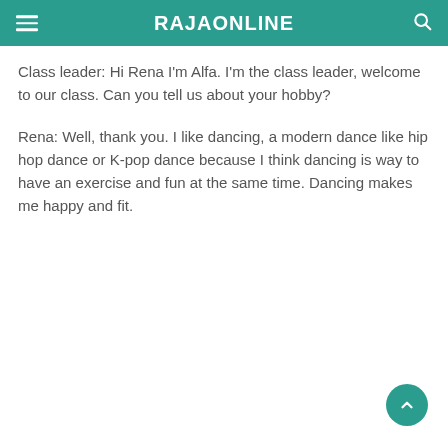RAJAONLINE
Class leader: Hi Rena I'm Alfa. I'm the class leader, welcome to our class. Can you tell us about your hobby?
Rena: Well, thank you. I like dancing, a modern dance like hip hop dance or K-pop dance because I think dancing is way to have an exercise and fun at the same time. Dancing makes me happy and fit.